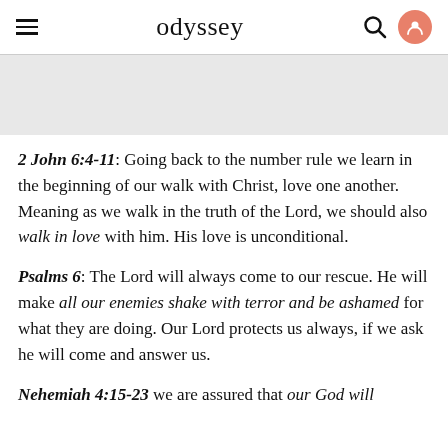odyssey
[Figure (other): Light grey image placeholder area]
2 John 6:4-11: Going back to the number rule we learn in the beginning of our walk with Christ, love one another. Meaning as we walk in the truth of the Lord, we should also walk in love with him. His love is unconditional.
Psalms 6: The Lord will always come to our rescue. He will make all our enemies shake with terror and be ashamed for what they are doing. Our Lord protects us always, if we ask he will come and answer us.
Nehemiah 4:15-23 we are assured that our God will